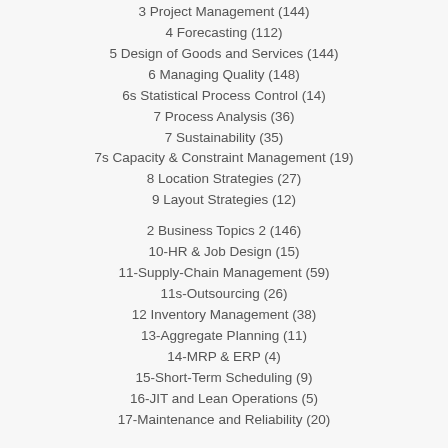3 Project Management (144)
4 Forecasting (112)
5 Design of Goods and Services (144)
6 Managing Quality (148)
6s Statistical Process Control (14)
7 Process Analysis (36)
7 Sustainability (35)
7s Capacity & Constraint Management (19)
8 Location Strategies (27)
9 Layout Strategies (12)
2 Business Topics 2 (146)
10-HR & Job Design (15)
11-Supply-Chain Management (59)
11s-Outsourcing (26)
12 Inventory Management (38)
13-Aggregate Planning (11)
14-MRP & ERP (4)
15-Short-Term Scheduling (9)
16-JIT and Lean Operations (5)
17-Maintenance and Reliability (20)